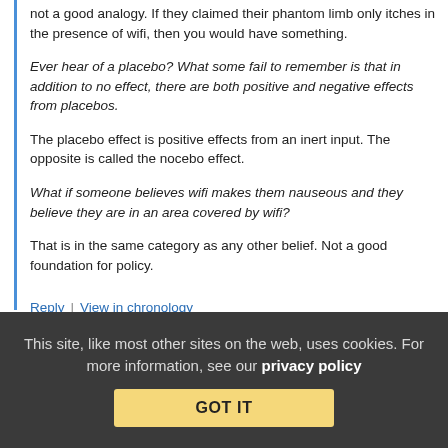not a good analogy. If they claimed their phantom limb only itches in the presence of wifi, then you would have something.
Ever hear of a placebo? What some fail to remember is that in addition to no effect, there are both positive and negative effects from placebos.
The placebo effect is positive effects from an inert input. The opposite is called the nocebo effect.
What if someone believes wifi makes them nauseous and they believe they are in an area covered by wifi?
That is in the same category as any other belief. Not a good foundation for policy.
Reply | View in chronology
This site, like most other sites on the web, uses cookies. For more information, see our privacy policy
GOT IT